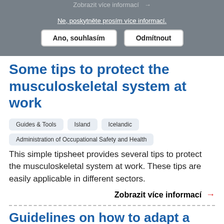Zobrazit více informací →
Ne, poskytněte prosím více informací.
Ano, souhlasím   Odmítnout
Some tips to protect the musculoskeletal system at work
Guides & Tools
Island
Icelandic
Administration of Occupational Safety and Health
This simple tipsheet provides several tips to protect the musculoskeletal system at work. These tips are easily applicable in different sectors.
Zobrazit více informací →
Guidelines on how to adapt a workplace for long-term sitting jobs
Guides & Tools
Chorvatsko
Croatian